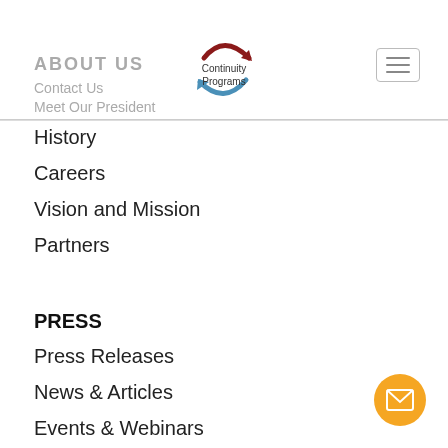ABOUT US
Contact Us
Meet Our President
[Figure (logo): Continuity Programs circular arrow logo with red and blue arrows]
History
Careers
Vision and Mission
Partners
PRESS
Press Releases
News & Articles
Events & Webinars